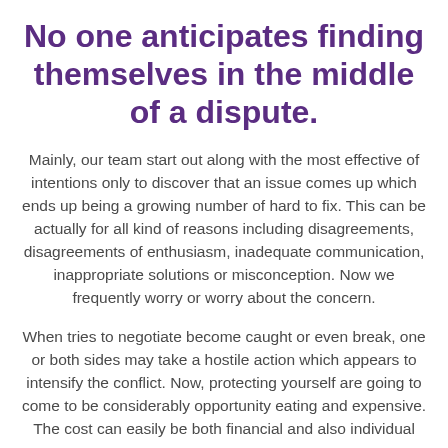No one anticipates finding themselves in the middle of a dispute.
Mainly, our team start out along with the most effective of intentions only to discover that an issue comes up which ends up being a growing number of hard to fix. This can be actually for all kind of reasons including disagreements, disagreements of enthusiasm, inadequate communication, inappropriate solutions or misconception. Now we frequently worry or worry about the concern.
When tries to negotiate become caught or even break, one or both sides may take a hostile action which appears to intensify the conflict. Now, protecting yourself are going to come to be considerably opportunity eating and expensive. The cost can easily be both financial and also individual